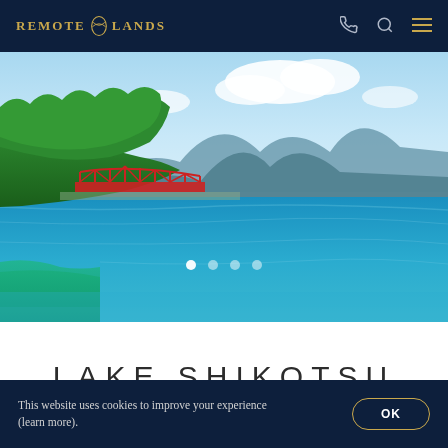REMOTE LANDS
[Figure (photo): Scenic view of Lake Shikotsu in Japan featuring a red truss bridge on the left, lush green forested hills, calm turquoise-blue lake waters, and mountains in the background under a partly cloudy sky. Carousel dots visible at bottom of image.]
LAKE SHIKOTSU
This website uses cookies to improve your experience (learn more).